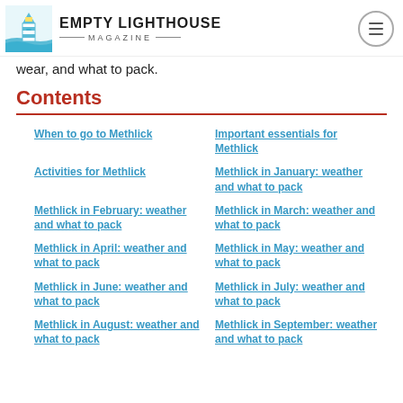Empty Lighthouse Magazine
wear, and what to pack.
Contents
When to go to Methlick
Important essentials for Methlick
Activities for Methlick
Methlick in January: weather and what to pack
Methlick in February: weather and what to pack
Methlick in March: weather and what to pack
Methlick in April: weather and what to pack
Methlick in May: weather and what to pack
Methlick in June: weather and what to pack
Methlick in July: weather and what to pack
Methlick in August: weather and what to pack
Methlick in September: weather and what to pack